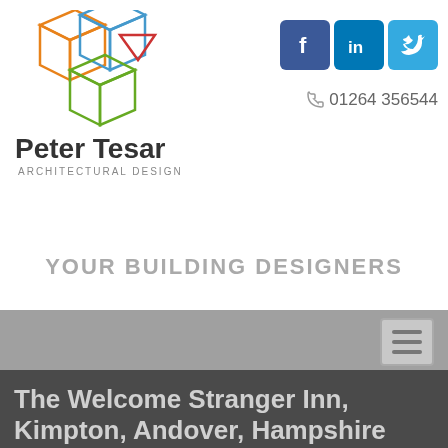[Figure (logo): Peter Tesar Architectural Design logo with colorful geometric cube shapes and company name]
[Figure (illustration): Social media icons for Facebook, LinkedIn, and Twitter]
📞 01264 356544
YOUR BUILDING DESIGNERS
[Figure (other): Navigation hamburger menu icon on gray bar]
The Welcome Stranger Inn, Kimpton, Andover, Hampshire
Building design, Listed Building Consent and Planning
This property is a Grade II listed building and is also set within a Conservation area. Our brief was to provide a design that was sympathetic to the building yet had to offer extended facilities to the bar and an additional games room.